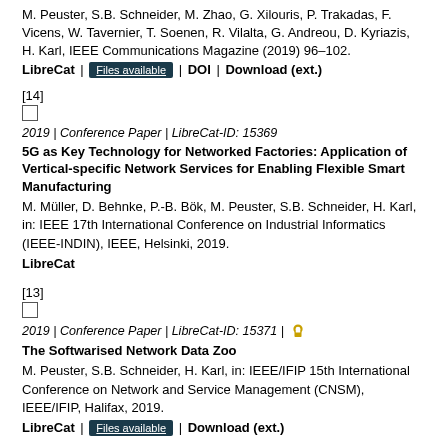M. Peuster, S.B. Schneider, M. Zhao, G. Xilouris, P. Trakadas, F. Vicens, W. Tavernier, T. Soenen, R. Vilalta, G. Andreou, D. Kyriazis, H. Karl, IEEE Communications Magazine (2019) 96–102.
LibreCat | Files available | DOI | Download (ext.)
[14]
2019 | Conference Paper | LibreCat-ID: 15369
5G as Key Technology for Networked Factories: Application of Vertical-specific Network Services for Enabling Flexible Smart Manufacturing
M. Müller, D. Behnke, P.-B. Bök, M. Peuster, S.B. Schneider, H. Karl, in: IEEE 17th International Conference on Industrial Informatics (IEEE-INDIN), IEEE, Helsinki, 2019.
LibreCat
[13]
2019 | Conference Paper | LibreCat-ID: 15371 |
The Softwarised Network Data Zoo
M. Peuster, S.B. Schneider, H. Karl, in: IEEE/IFIP 15th International Conference on Network and Service Management (CNSM), IEEE/IFIP, Halifax, 2019.
LibreCat | Files available | Download (ext.)